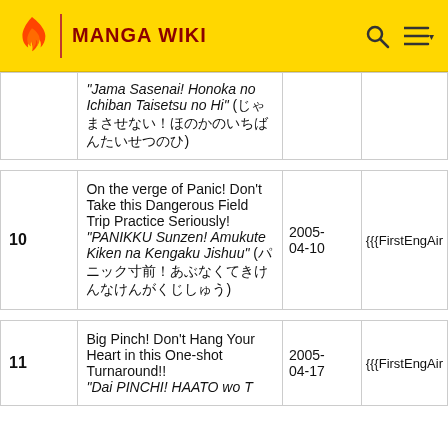MANGA WIKI
| # | Title | Date | FirstEngAir |
| --- | --- | --- | --- |
|  | "Jama Sasenai! Honoka no Ichiban Taisetsu no Hi" (じゃまさせない！ほのかのいちばんたいせつのひ) |  |  |
| 10 | On the verge of Panic! Don't Take this Dangerous Field Trip Practice Seriously! "PANIKKU Sunzen! Amukute Kiken na Kengaku Jishuu" (パニック寸前！あぶなくてきけんなけんがくじしゅう) | 2005-04-10 | {{{FirstEngAir |
| 11 | Big Pinch! Don't Hang Your Heart in this One-shot Turnaround!! "Dai PINCHI! HAATO wo Taosenba... | 2005-04-17 | {{{FirstEngAir |